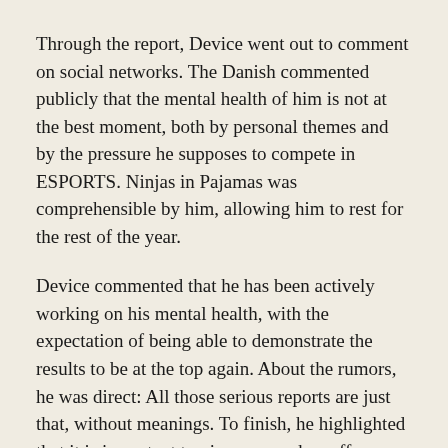Through the report, Device went out to comment on social networks. The Danish commented publicly that the mental health of him is not at the best moment, both by personal themes and by the pressure he supposes to compete in ESPORTS. Ninjas in Pajamas was comprehensible by him, allowing him to rest for the rest of the year.
Device commented that he has been actively working on his mental health, with the expectation of being able to demonstrate the results to be at the top again. About the rumors, he was direct: All those serious reports are just that, without meanings. To finish, he highlighted that it is important to give space who suffers from his mental health
I hope this will serve to stop uncomfortable rumors. I kindly ask the media that respect my privacy, he added.